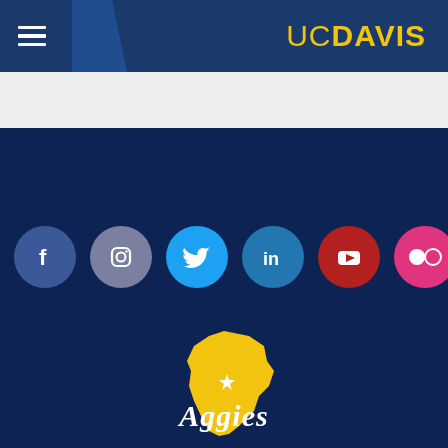UC Davis
[Figure (logo): UC Davis logo with hamburger menu on left and UCDAVIS text in gold on dark navy header]
[Figure (infographic): Social media icons row: Facebook (blue), Instagram (muted purple), Twitter (light blue), LinkedIn (teal blue), YouTube (red), Flickr (pink) — circular icons on dark navy background]
[Figure (logo): Aggies logo with California state shape in gold and cursive 'Aggies' text with a star, on dark navy background]